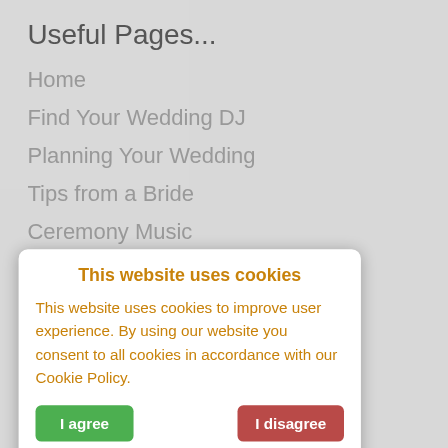Useful Pages...
Home
Find Your Wedding DJ
Planning Your Wedding
Tips from a Bride
Ceremony Music
This website uses cookies
This website uses cookies to improve user experience. By using our website you consent to all cookies in accordance with our Cookie Policy.
I agree
I disagree
Read more